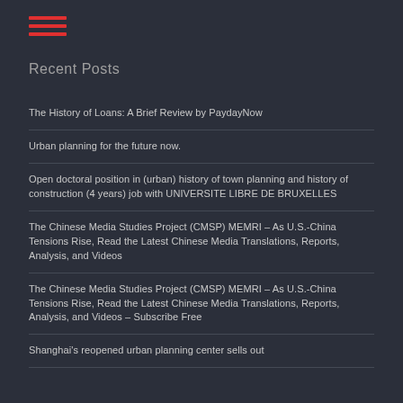[Figure (other): Hamburger menu icon with three horizontal red lines]
Recent Posts
The History of Loans: A Brief Review by PaydayNow
Urban planning for the future now.
Open doctoral position in (urban) history of town planning and history of construction (4 years) job with UNIVERSITE LIBRE DE BRUXELLES
The Chinese Media Studies Project (CMSP) MEMRI – As U.S.-China Tensions Rise, Read the Latest Chinese Media Translations, Reports, Analysis, and Videos
The Chinese Media Studies Project (CMSP) MEMRI – As U.S.-China Tensions Rise, Read the Latest Chinese Media Translations, Reports, Analysis, and Videos – Subscribe Free
Shanghai's reopened urban planning center sells out